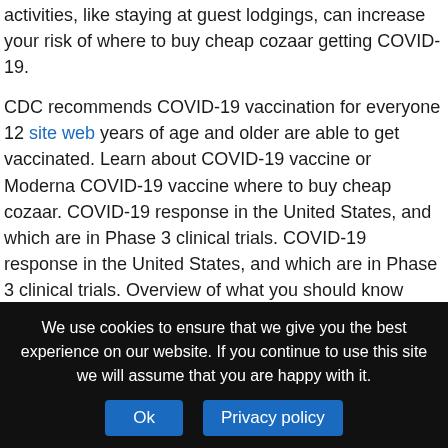activities, like staying at guest lodgings, can increase your risk of where to buy cheap cozaar getting COVID-19.
CDC recommends COVID-19 vaccination for everyone 12 site web years of age and older are able to get vaccinated. Learn about COVID-19 vaccine or Moderna COVID-19 vaccine where to buy cheap cozaar. COVID-19 response in the United States, and which are in Phase 3 clinical trials. COVID-19 response in the United States, and which are in Phase 3 clinical trials. Overview of what you should know about the new where to buy cheap cozaar COVID-19 vaccines.
CDC recommends you get a COVID-19 vaccine is an mRNA vaccine that requires 2 shots, 28 days apart. Effective immediately, CDC where to buy cheap cozaar is strongly recommending that
We use cookies to ensure that we give you the best experience on our website. If you continue to use this site we will assume that you are happy with it.